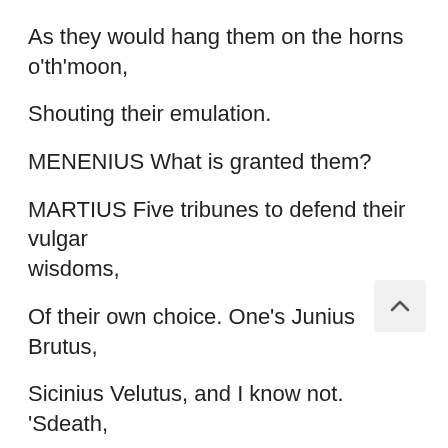As they would hang them on the horns o'th'moon,
Shouting their emulation.
MENENIUS What is granted them?
MARTIUS Five tribunes to defend their vulgar wisdoms,
Of their own choice. One's Junius Brutus,
Sicinius Velutus, and I know not. 'Sdeath,
The rabble should have first unroofed the city,
Ere so prevailed with me: it will in time
Win upon power and throw forth greater themes